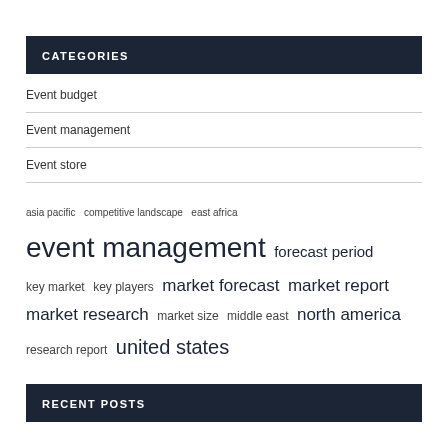CATEGORIES
Event budget
Event management
Event store
asia pacific  competitive landscape  east africa  event management  forecast period  key market  key players  market forecast  market report  market research  market size  middle east  north america  research report  united states
RECENT POSTS